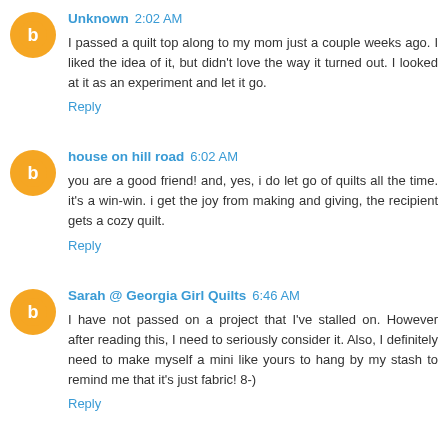Unknown 2:02 AM
I passed a quilt top along to my mom just a couple weeks ago. I liked the idea of it, but didn't love the way it turned out. I looked at it as an experiment and let it go.
Reply
house on hill road 6:02 AM
you are a good friend! and, yes, i do let go of quilts all the time. it's a win-win. i get the joy from making and giving, the recipient gets a cozy quilt.
Reply
Sarah @ Georgia Girl Quilts 6:46 AM
I have not passed on a project that I've stalled on. However after reading this, I need to seriously consider it. Also, I definitely need to make myself a mini like yours to hang by my stash to remind me that it's just fabric! 8-)
Reply